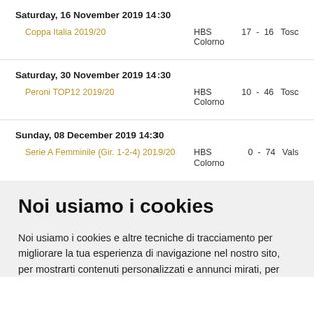Saturday, 16 November 2019 14:30
Coppa Italia 2019/20    HBS Colorno  17  -  16  Tosc…
Saturday, 30 November 2019 14:30
Peroni TOP12 2019/20    HBS Colorno  10  -  46  Tosc…
Sunday, 08 December 2019 14:30
Serie A Femminile (Gir. 1-2-4) 2019/20    HBS Colorno  0  -  74  Vals…
Noi usiamo i cookies
Noi usiamo i cookies e altre tecniche di tracciamento per migliorare la tua esperienza di navigazione nel nostro sito, per mostrarti contenuti personalizzati e annunci mirati, per